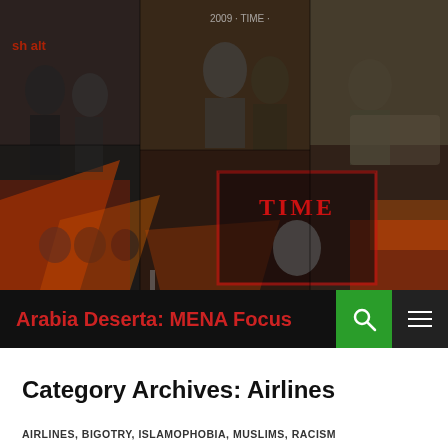[Figure (photo): A collage of historical black and white and color photos of Middle Eastern and world leaders, including a TIME magazine cover, overlapping in a header image for the blog Arabia Deserta: MENA Focus.]
Arabia Deserta: MENA Focus
Category Archives: Airlines
AIRLINES, BIGOTRY, ISLAMOPHOBIA, MUSLIMS, RACISM
INSHALLAH: A UNITED